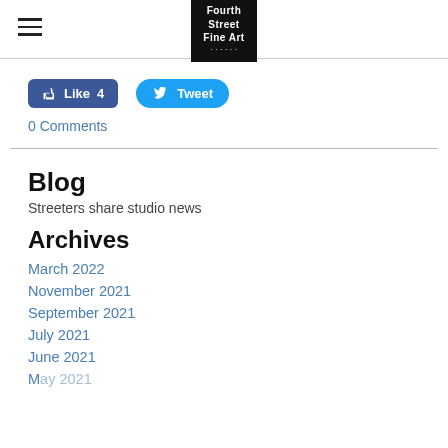Fourth Street Fine Art (logo)
[Figure (logo): Fourth Street Fine Art logo — black box with white text reading 'Fourth Street Fine Art' and a small subtitle line]
[Figure (infographic): Social sharing buttons: blue Facebook 'Like 4' button and blue Twitter 'Tweet' button]
0 Comments
Blog
Streeters share studio news
Archives
March 2022
November 2021
September 2021
July 2021
June 2021
May 2021